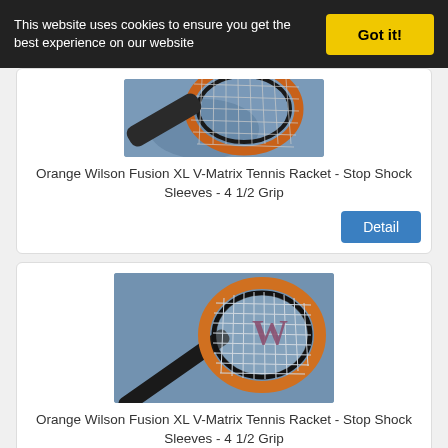This website uses cookies to ensure you get the best experience on our website
Got it!
[Figure (photo): Orange Wilson Fusion XL V-Matrix Tennis Racket photo (top/partial), on a grey-blue surface]
Orange Wilson Fusion XL V-Matrix Tennis Racket - Stop Shock Sleeves - 4 1/2 Grip
Detail
[Figure (photo): Orange Wilson Fusion XL V-Matrix Tennis Racket full view, orange and black frame with white strings and Wilson W logo, on grey-blue surface]
Orange Wilson Fusion XL V-Matrix Tennis Racket - Stop Shock Sleeves - 4 1/2 Grip
Detail
[Figure (photo): Partial view of a third product (appears to be a paddle or racket accessory with character decoration) on a grey surface]